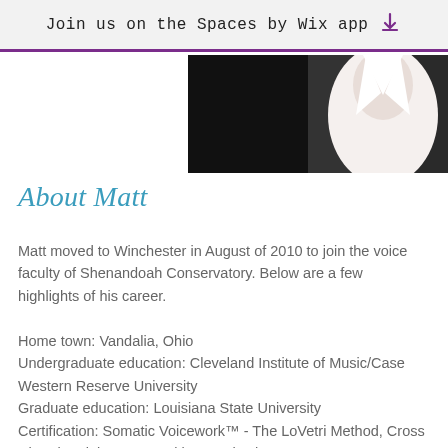Join us on the Spaces by Wix app
[Figure (photo): Partial photo of a person wearing a white shirt, cropped to show neck and collar area against a dark background]
About Matt
Matt moved to Winchester in August of 2010 to join the voice faculty of Shenandoah Conservatory. Below are a few highlights of his career.
Home town: Vandalia, Ohio
Undergraduate education: Cleveland Institute of Music/Case Western Reserve University
Graduate education: Louisiana State University
Certification: Somatic Voicework™ - The LoVetri Method, Cross Choral Training™ - Brooklyn Youth Chorus